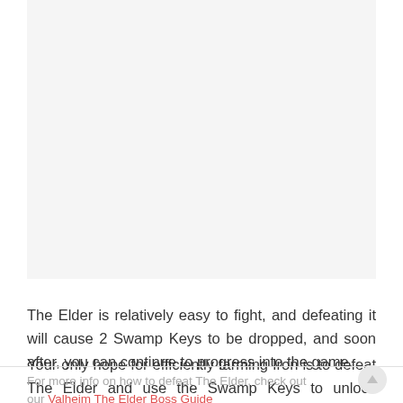[Figure (other): Image area (game screenshot or illustration, content not visible in this portion of the page)]
The Elder is relatively easy to fight, and defeating it will cause 2 Swamp Keys to be dropped, and soon after, you can continue to progress into the game.
Your only hope for efficiently farming Iron is to defeat The Elder and use the Swamp Keys to unlock Sunken Crypts where you will farm it.
For more info on how to defeat The Elder, check out our Valheim The Elder Boss Guide